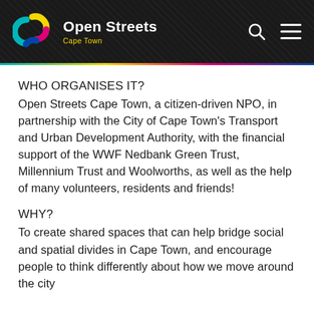Open Streets Cape Town
WHO ORGANISES IT?
Open Streets Cape Town, a citizen-driven NPO, in partnership with the City of Cape Town's Transport and Urban Development Authority, with the financial support of the WWF Nedbank Green Trust, Millennium Trust and Woolworths, as well as the help of many volunteers, residents and friends!
WHY?
To create shared spaces that can help bridge social and spatial divides in Cape Town, and encourage people to think differently about how we move around the city